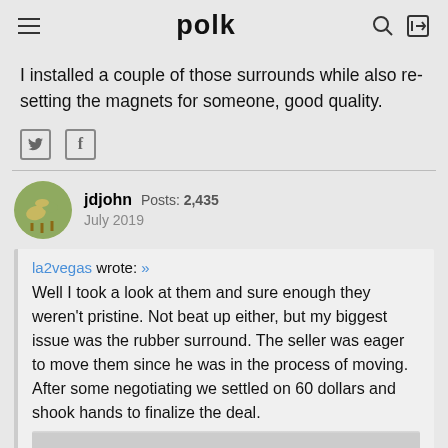polk
I installed a couple of those surrounds while also re-setting the magnets for someone, good quality.
jdjohn  Posts: 2,435  July 2019
la2vegas wrote: »
Well I took a look at them and sure enough they weren't pristine. Not beat up either, but my biggest issue was the rubber surround. The seller was eager to move them since he was in the process of moving. After some negotiating we settled on 60 dollars and shook hands to finalize the deal.
[Figure (photo): Partial photo of a speaker or white surface at bottom of page]